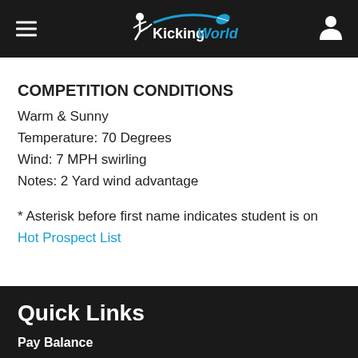KickingWorld
COMPETITION CONDITIONS
Warm & Sunny
Temperature: 70 Degrees
Wind: 7 MPH swirling
Notes: 2 Yard wind advantage
* Asterisk before first name indicates student is on Hot Prospect List
Quick Links
Pay Balance